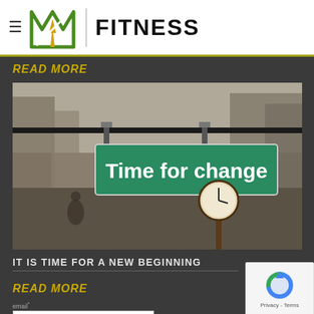FITNESS
READ MORE
[Figure (photo): Street sign hanging from a cable reading 'Time for change' in white bold text on a green sign background, with a clock and blurred city buildings in the background.]
IT IS TIME FOR A NEW BEGINNING
READ MORE
email*